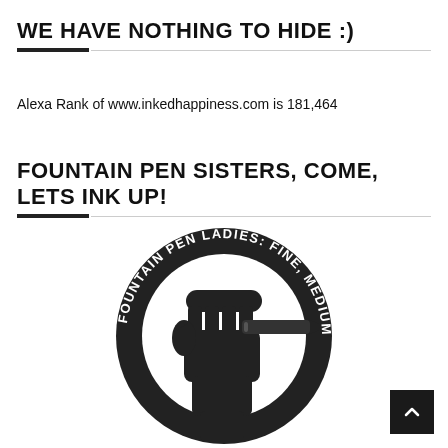WE HAVE NOTHING TO HIDE :)
Alexa Rank of www.inkedhappiness.com is 181,464
FOUNTAIN PEN SISTERS, COME, LETS INK UP!
[Figure (logo): Circular logo for 'Fountain Pen Ladies: Fine, Medium & Broad' showing a raised fist holding a fountain pen inside a circular ring, text arranged in an arc around the top half.]